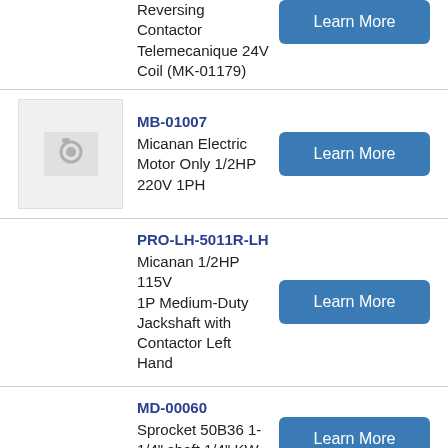Reversing Contactor Telemecanique 24V Coil (MK-01179)
MB-01007 — Micanan Electric Motor Only 1/2HP 220V 1PH
PRO-LH-5011R-LH — Micanan 1/2HP 115V 1P Medium-Duty Jackshaft with Contactor Left Hand
MD-00060 — Sprocket 50B36 1-1/4" shaft 1/4" KW 2SS 5/16"